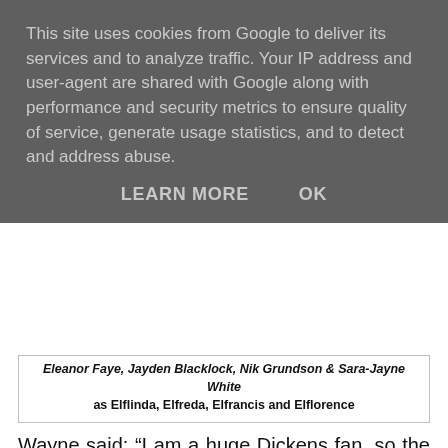This site uses cookies from Google to deliver its services and to analyze traffic. Your IP address and user-agent are shared with Google along with performance and security metrics to ensure quality of service, generate usage statistics, and to detect and address abuse.
LEARN MORE   OK
Eleanor Faye, Jayden Blacklock, Nik Grundson & Sara-Jayne White as Elflinda, Elfreda, Elfrancis and Elflorence
Wayne said: “I am a huge Dickens fan, so the idea of using A Christmas Carol as a story base, to see into the past of Elfluent, seemed like a winner. Our audience this year will see what kind of crimes against Christmas he caused in his younger days. Also, could we find out why he became naughty in the first place? I have put together a brand new cast this year, a cast who I know will knock it out of the park and make this year’s Santa’s Naughty Elf the best one yet. We are so pleased our audience agree and have snapped up so many tickets. We’re heading for a record-breaking year!”